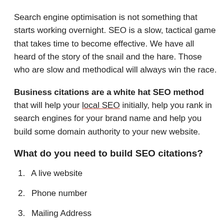Search engine optimisation is not something that starts working overnight. SEO is a slow, tactical game that takes time to become effective. We have all heard of the story of the snail and the hare. Those who are slow and methodical will always win the race.
Business citations are a white hat SEO method that will help your local SEO initially, help you rank in search engines for your brand name and help you build some domain authority to your new website.
What do you need to build SEO citations?
A live website
Phone number
Mailing Address